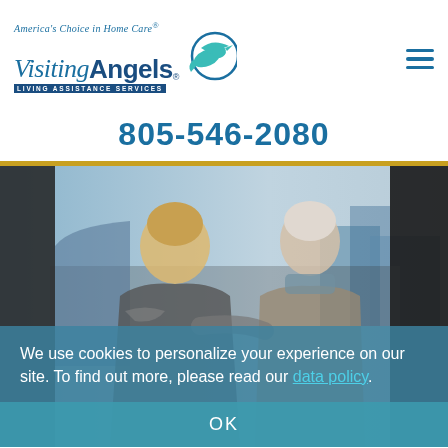[Figure (logo): Visiting Angels logo with tagline 'America's Choice in Home Care' and bird/circle graphic]
805-546-2080
[Figure (photo): Two women outdoors near a car — a younger caregiver helping an older woman get into or out of a vehicle, both wearing winter coats]
We use cookies to personalize your experience on our site. To find out more, please read our data policy.
OK